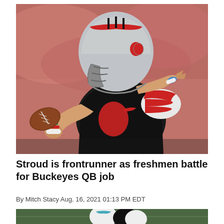[Figure (photo): Ohio State quarterback wearing black jersey number 9 in throwing pose, holding football, wearing silver helmet with red stripe, blurred stadium crowd in background]
Stroud is frontrunner as freshmen battle for Buckeyes QB job
By Mitch Stacy Aug. 16, 2021 01:13 PM EDT
[Figure (photo): Partial photo showing football players on green field, helmets visible, cropped at bottom of page]